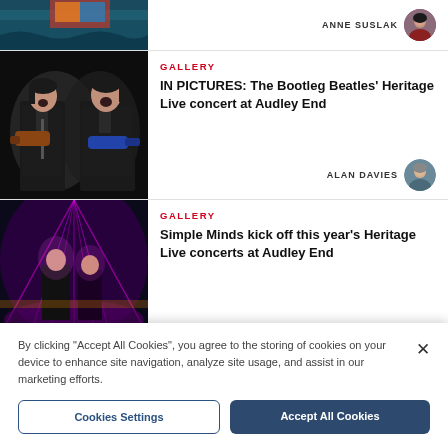[Figure (photo): Partial top card showing a sailboat/windsurfer image cropped at top]
ANNE SUSLAK
[Figure (photo): Two performers dressed as Beatles singing and playing guitar on stage]
GALLERY
IN PICTURES: The Bootleg Beatles' Heritage Live concert at Audley End
ALAN DAVIES
[Figure (photo): Concert performer on stage with purple lighting and laser effects]
GALLERY
Simple Minds kick off this year's Heritage Live concerts at Audley End
By clicking "Accept All Cookies", you agree to the storing of cookies on your device to enhance site navigation, analyze site usage, and assist in our marketing efforts.